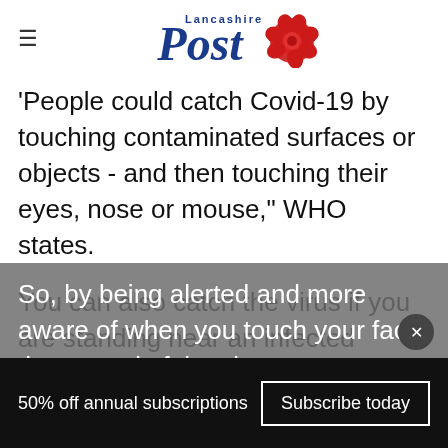Lancashire Post
'People could catch Covid-19 by touching contaminated surfaces or objects - and then touching their eyes, nose or mouse," WHO states.
You can also catch the virus if you are standing near an infected person and breathing in these droplets.
So, by being alerted and more aware of when you touch your face, the spread of the virus
50% off annual subscriptions   Subscribe today